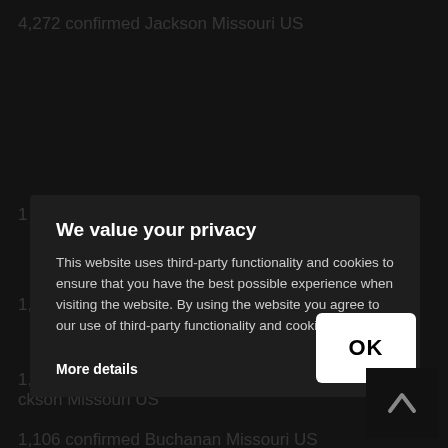We value your privacy
This website uses third-party functionality and cookies to ensure that you have the best possible experience when visiting the website. By using the website you agree to our use of third-party functionality and cookies.
More details
[Figure (screenshot): OK button on dark modal dialog]
[Figure (other): Dark corner icon with chevron/arrow]